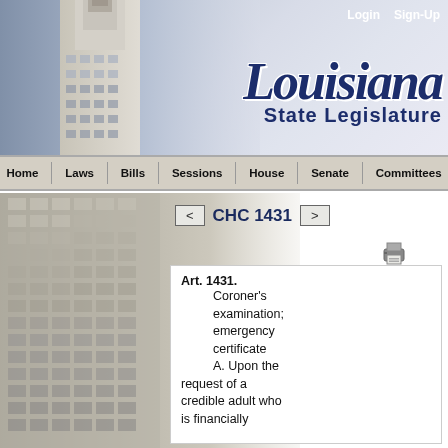Login  Sign-Up
Louisiana State Legislature
Home  Laws  Bills  Sessions  House  Senate  Committees
< CHC 1431 >
Art. 1431.
        Coroner's examination; emergency certificate
        A. Upon the request of a credible adult who is financially...